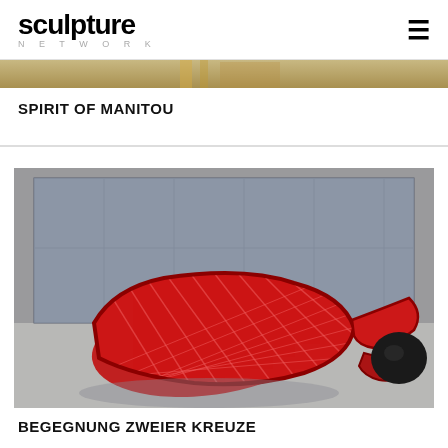sculpture NETWORK
[Figure (photo): Partial view of a sculpture (cropped at top) - Spirit of Manitou artwork]
SPIRIT OF MANITOU
[Figure (photo): Red woven/lattice fish-shaped sculpture lying on a concrete floor in an industrial space with large windows]
BEGEGNUNG ZWEIER KREUZE